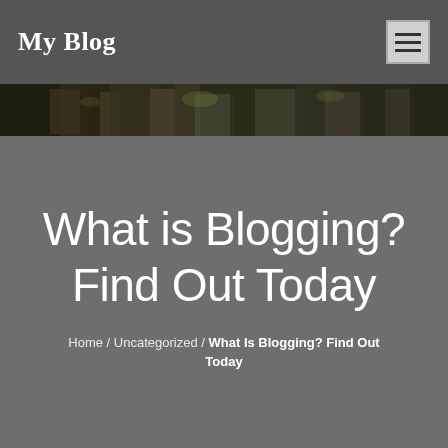My Blog
[Figure (photo): Dark forest/nature hero image strip used as banner background]
What is Blogging? Find Out Today
Home / Uncategorized / What Is Blogging? Find Out Today